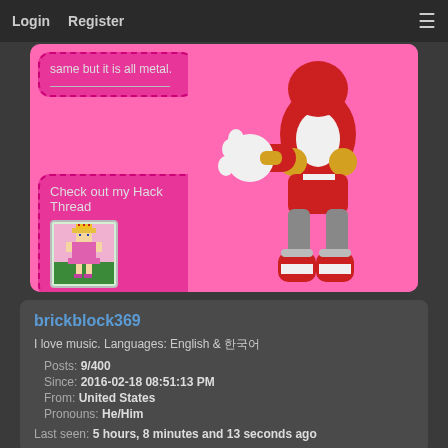Login  Register
[Figure (screenshot): Pink background profile signature area showing two dashed-border boxes on the left with text 'same but it is all metal.' and 'Check out my Hack Thread' with a pixel art sprite image below, and a 3D rendered character (Knuckles in red outfit) on the right side.]
brickblock369
I love music. Languages: English & 한국어
Posts: 9/400
Since: 2016-02-18 08:51:13 PM
From: United States
Pronouns: He/Him
Last seen: 5 hours, 8 minutes and 13 seconds ago